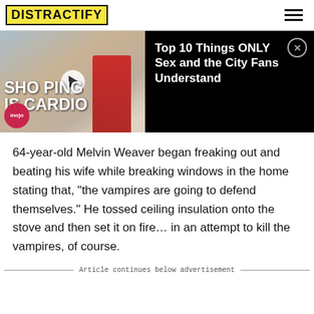DISTRACTIFY
[Figure (screenshot): Video thumbnail ad: SHOPPING IS CARDIO with WatchMojo logo, beside black panel with text 'Top 10 Things ONLY Sex and the City Fans Understand' and a close X button]
64-year-old Melvin Weaver began freaking out and beating his wife while breaking windows in the home stating that, "the vampires are going to defend themselves." He tossed ceiling insulation onto the stove and then set it on fire... in an attempt to kill the vampires, of course.
Article continues below advertisement